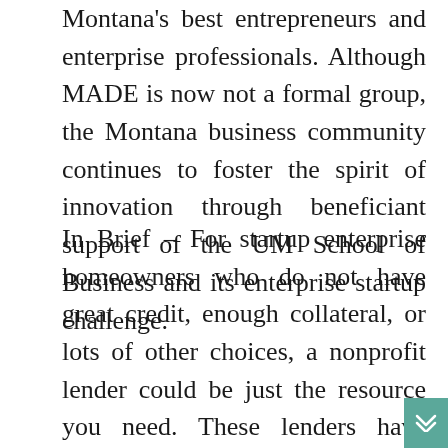Montana's best entrepreneurs and enterprise professionals. Although MADE is now not a formal group, the Montana business community continues to foster the spirit of innovation through beneficiant support of the UM School of Business and its enterprise startup challenge.
In Brief – For startup enterprise homeowners who do not have great credit, enough collateral, or lots of other choices, a nonprofit lender could be just the resource you need. These lenders have specific standards they use when looking for debtors. You must find one which matches who you might be or what your enterprise is (such as a lender in search of eating places)